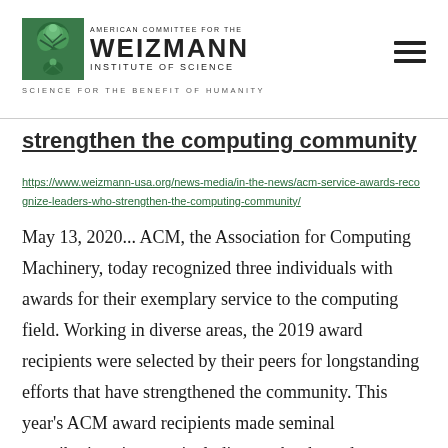[Figure (logo): American Committee for the Weizmann Institute of Science logo with emblem and tagline 'Science for the Benefit of Humanity']
strengthen the computing community
https://www.weizmann-usa.org/news-media/in-the-news/acm-service-awards-recognize-leaders-who-strengthen-the-computing-community/
May 13, 2020... ACM, the Association for Computing Machinery, today recognized three individuals with awards for their exemplary service to the computing field. Working in diverse areas, the 2019 award recipients were selected by their peers for longstanding efforts that have strengthened the community. This year's ACM award recipients made seminal contributions in areas including textbooks and educational tools, bibliographic resources, and advancing the computing